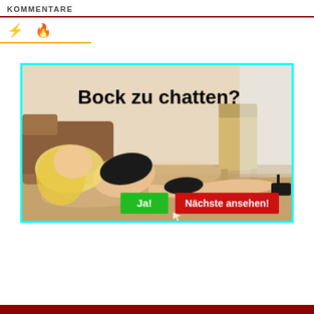KOMMENTARE
[Figure (infographic): Two small icons: a yellow lightning bolt and an orange flame, in an icon/tab bar with yellow underline border]
[Figure (photo): Advertisement banner with cyan border. Shows a blonde woman lying on floor in black lingerie. Text reads 'Bock zu chatten?' in large bold black font. Two buttons: green 'Ja!' and red 'Nächste ansehen!']